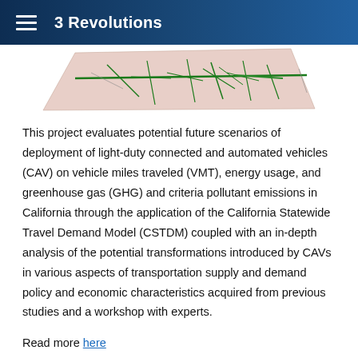3 Revolutions
[Figure (map): A map of California showing road networks with green lines indicating major highways and roads, pink/beige shading for land areas.]
This project evaluates potential future scenarios of deployment of light-duty connected and automated vehicles (CAV) on vehicle miles traveled (VMT), energy usage, and greenhouse gas (GHG) and criteria pollutant emissions in California through the application of the California Statewide Travel Demand Model (CSTDM) coupled with an in-depth analysis of the potential transformations introduced by CAVs in various aspects of transportation supply and demand policy and economic characteristics acquired from previous studies and a workshop with experts.
Read more here